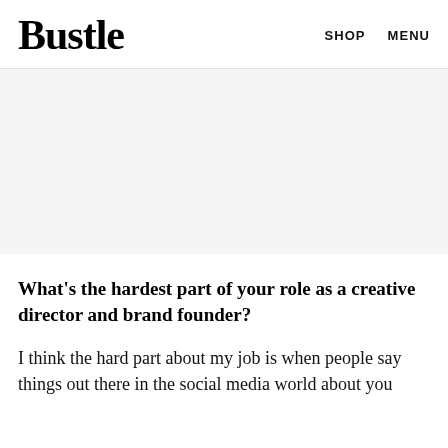Bustle   SHOP   MENU
[Figure (other): Gray advertisement placeholder area]
What's the hardest part of your role as a creative director and brand founder?
I think the hard part about my job is when people say things out there in the social media world about you